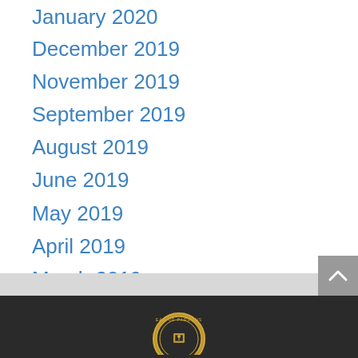January 2020
December 2019
November 2019
September 2019
August 2019
June 2019
May 2019
April 2019
March 2019
February 2019
May 2018
February 2016
[Figure (logo): Bureau of Pardons seal/logo at bottom of page]